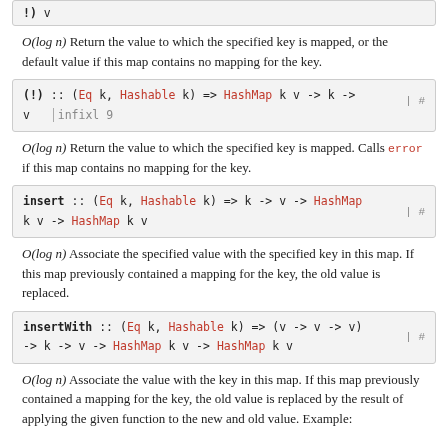[Figure (screenshot): Partial code box at top showing truncated function signature]
O(log n) Return the value to which the specified key is mapped, or the default value if this map contains no mapping for the key.
[Figure (screenshot): Code box: (!) :: (Eq k, Hashable k) => HashMap k v -> k -> v  |  infixl 9  | #]
O(log n) Return the value to which the specified key is mapped. Calls error if this map contains no mapping for the key.
[Figure (screenshot): Code box: insert :: (Eq k, Hashable k) => k -> v -> HashMap k v -> HashMap k v  | #]
O(log n) Associate the specified value with the specified key in this map. If this map previously contained a mapping for the key, the old value is replaced.
[Figure (screenshot): Code box: insertWith :: (Eq k, Hashable k) => (v -> v -> v) -> k -> v -> HashMap k v -> HashMap k v  | #]
O(log n) Associate the value with the key in this map. If this map previously contained a mapping for the key, the old value is replaced by the result of applying the given function to the new and old value. Example: